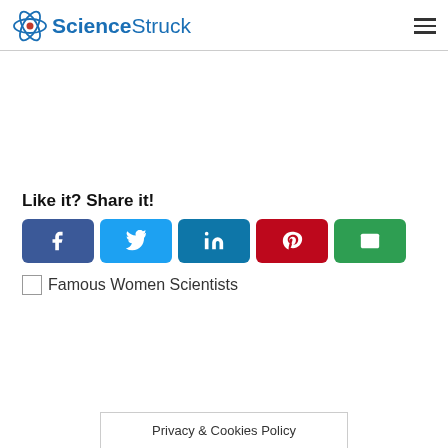ScienceStruck
Like it? Share it!
[Figure (infographic): Social share buttons: Facebook, Twitter, LinkedIn, Pinterest, Email]
[Figure (photo): Broken image placeholder for Famous Women Scientists link]
Famous Women Scientists
Privacy & Cookies Policy